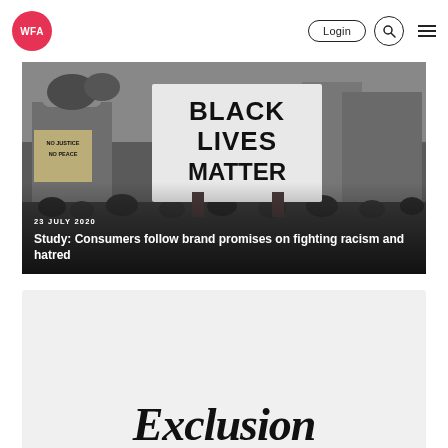WFA | Login | Search | Menu
[Figure (photo): Black and white photograph of a Black Lives Matter protest. A large sign reads 'BLACK LIVES MATTER' in bold block letters. A smaller sign reading 'NO JUSTICE NO PEACE' is visible on the left. Crowds of protesters fill the street with a city background.]
23 JULY 2020
Study: Consumers follow brand promises on fighting racism and hatred
[Figure (other): Partial view of text reading 'Exclusion' in large bold italic serif font on a light grey card background.]